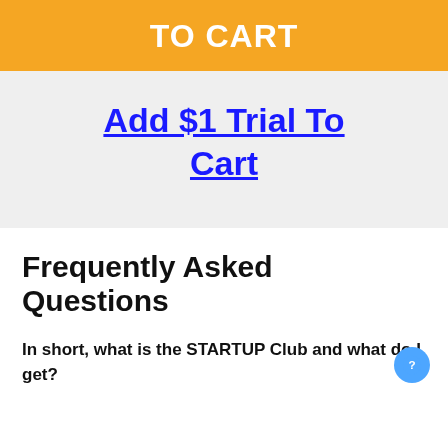TO CART
Add $1 Trial To Cart
Frequently Asked Questions
In short, what is the STARTUP Club and what do I get?